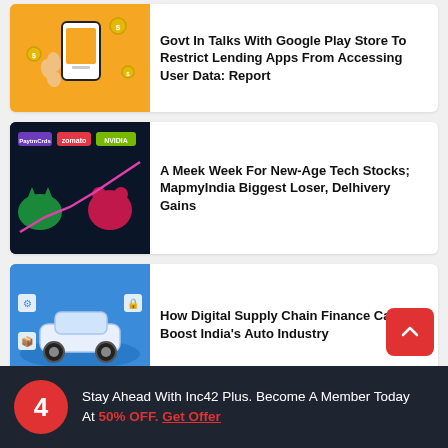[Figure (illustration): Orange background illustration of a hand holding a smartphone with coins floating around it]
Govt In Talks With Google Play Store To Restrict Lending Apps From Accessing User Data: Report
[Figure (illustration): Dark navy background with logos of PaytmCreds, Zomato, NVIDIA and a bull-bear stock market illustration with a rising pink line]
A Meek Week For New-Age Tech Stocks; MapmyIndia Biggest Loser, Delhivery Gains
[Figure (illustration): Blue background with a car on a digital platform surrounded by supply chain icons]
How Digital Supply Chain Finance Can Boost India's Auto Industry
Stay Ahead With Inc42 Plus. Become A Member Today At 50% OFF. Get Offer